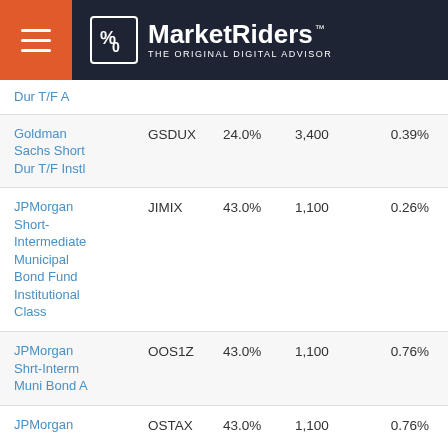MarketRiders THE ORIGINAL DIGITAL ADVISOR
| Fund Name | Ticker | Allocation | Min | Expense |
| --- | --- | --- | --- | --- |
| Dur T/F A |  |  |  |  |
| Goldman Sachs Short Dur T/F Instl | GSDUX | 24.0% | 3,400 | 0.39% |
| JPMorgan Short-Intermediate Municipal Bond Fund Institutional Class | JIMIX | 43.0% | 1,100 | 0.26% |
| JPMorgan Shrt-Interm Muni Bond A | OOS1Z | 43.0% | 1,100 | 0.76% |
| JPMorgan | OSTAX | 43.0% | 1,100 | 0.76% |